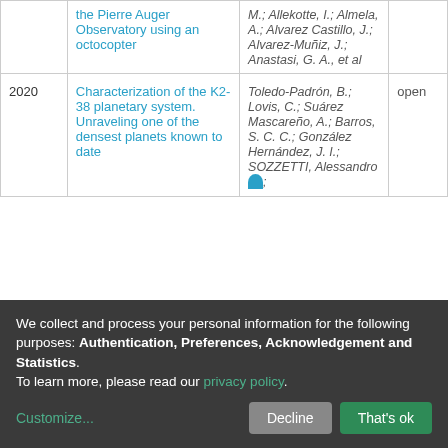| Year | Title | Authors | Status |
| --- | --- | --- | --- |
|  | the Pierre Auger Observatory using an octocopter | M.; Allekotte, I.; Almela, A.; Alvarez Castillo, J.; Alvarez-Muñiz, J.; Anastasi, G. A., et al |  |
| 2020 | Characterization of the K2-38 planetary system. Unraveling one of the densest planets known to date | Toledo-Padrón, B.; Lovis, C.; Suárez Mascareño, A.; Barros, S. C. C.; González Hernández, J. I.; SOZZETTI, Alessandro | open |
We collect and process your personal information for the following purposes: Authentication, Preferences, Acknowledgement and Statistics. To learn more, please read our privacy policy.